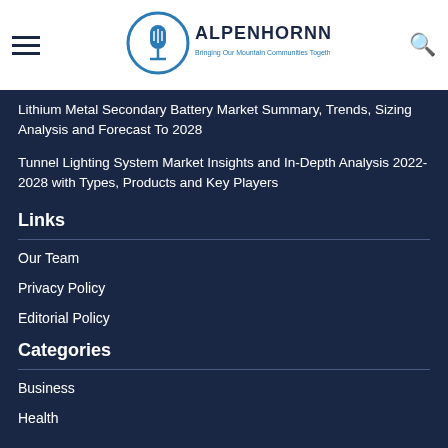ALPENHORNNEWS — Bringing Our Mountain Communities Together Since 1988
Lithium Metal Secondary Battery Market Summary, Trends, Sizing Analysis and Forecast To 2028
Tunnel Lighting System Market Insights and In-Depth Analysis 2022-2028 with Types, Products and Key Players
Links
Our Team
Privacy Policy
Editorial Policy
Categories
Business
Health